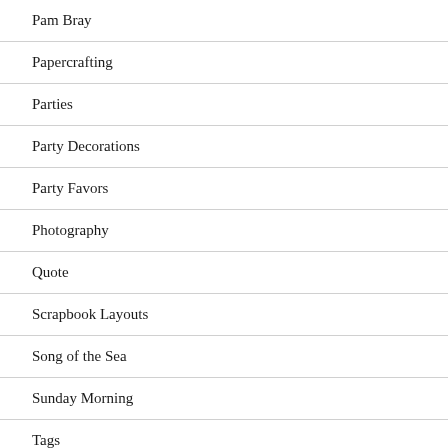Pam Bray
Papercrafting
Parties
Party Decorations
Party Favors
Photography
Quote
Scrapbook Layouts
Song of the Sea
Sunday Morning
Tags